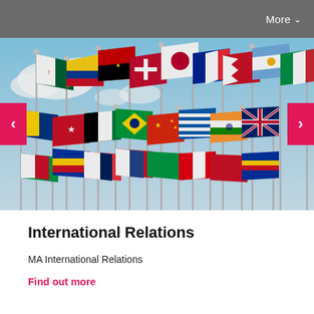More ∨
[Figure (photo): A row of international flags on flag poles flying against a blue sky background, representing countries from around the world.]
International Relations
MA International Relations
Find out more